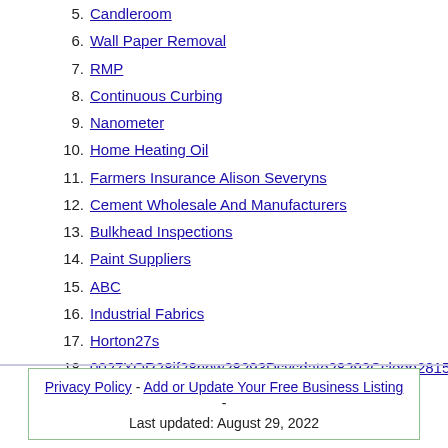5. Candleroom
6. Wall Paper Removal
7. RMP
8. Continuous Curbing
9. Nanometer
10. Home Heating Oil
11. Farmers Insurance Alison Severyns
12. Cement Wholesale And Manufacturers
13. Bulkhead Inspections
14. Paint Suppliers
15. ABC
16. Industrial Fabrics
17. Horton27s
18. 0027XOR28if28now28293Dsysdate28292Csleep2815293
19. Healthcare IT Services
20. Marketplace Cafe
Privacy Policy - Add or Update Your Free Business Listing - Last updated: August 29, 2022